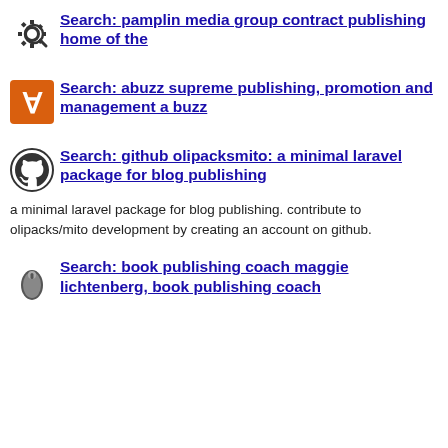Search: pamplin media group contract publishing home of the
Search: abuzz supreme publishing, promotion and management a buzz
Search: github olipacksmito: a minimal laravel package for blog publishing
a minimal laravel package for blog publishing. contribute to olipacks/mito development by creating an account on github.
Search: book publishing coach maggie lichtenberg, book publishing coach